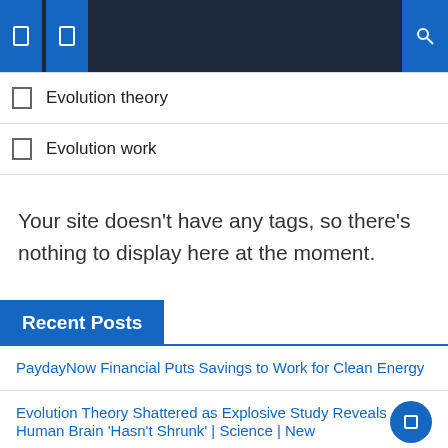Navigation bar with menu icons and search icon
Evolution theory
Evolution work
Your site doesn't have any tags, so there's nothing to display here at the moment.
Recent Posts
PaydayNow Financial Puts Savings to Work for Clean Energy
Evolution Theory Shattered as Explosive Study Reveals Human Brain 'Hasn't Shrunk' | Science | New
Pokemon Scarlet and Violet Fan have an interesting theory about